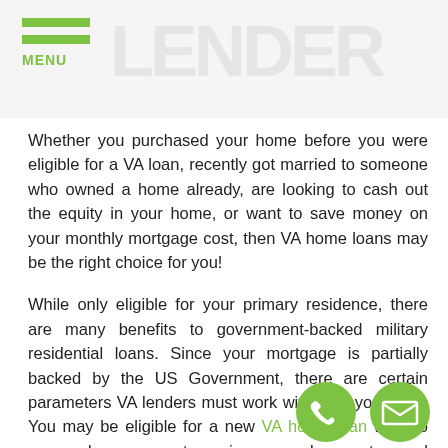MENU [watermark logo]
Whether you purchased your home before you were eligible for a VA loan, recently got married to someone who owned a home already, are looking to cash out the equity in your home, or want to save money on your monthly mortgage cost, then VA home loans may be the right choice for you!
While only eligible for your primary residence, there are many benefits to government-backed military residential loans. Since your mortgage is partially backed by the US Government, there are certain parameters VA lenders must work within for your loan. You may be eligible for a new VA home loan with no money down, no mortgage insurance, lower rates, and lower closing costs than a conventional or FHA loan, and these limits are the same for Luthersville home refinancing as well.